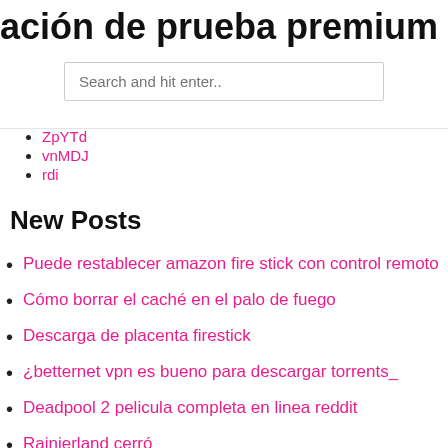ación de prueba premium de avast c
Search and hit enter..
ZpYTd
vnMDJ
rdi
New Posts
Puede restablecer amazon fire stick con control remoto
Cómo borrar el caché en el palo de fuego
Descarga de placenta firestick
¿betternet vpn es bueno para descargar torrents_
Deadpool 2 pelicula completa en linea reddit
Rainierland cerró
Billboard music awards stream reddit